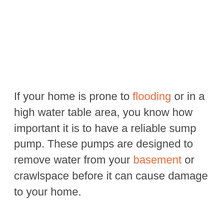If your home is prone to flooding or in a high water table area, you know how important it is to have a reliable sump pump. These pumps are designed to remove water from your basement or crawlspace before it can cause damage to your home.